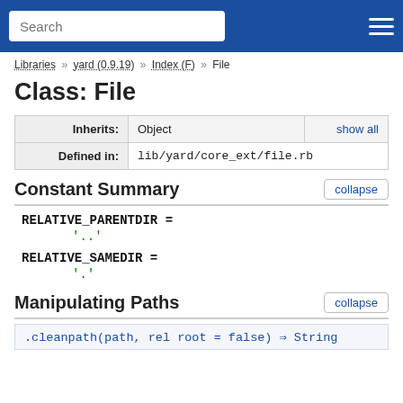Search
Libraries » yard (0.9.19) » Index (F) » File
Class: File
| Inherits: | Object | show all |
| Defined in: | lib/yard/core_ext/file.rb |  |
Constant Summary
RELATIVE_PARENTDIR =
'..'
RELATIVE_SAMEDIR =
'.'
Manipulating Paths
.cleanpath(path, rel root = false) ⇒ String